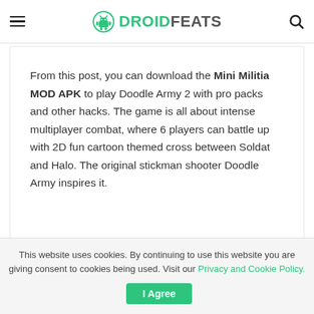DROIDFEATS
From this post, you can download the Mini Militia MOD APK to play Doodle Army 2 with pro packs and other hacks. The game is all about intense multiplayer combat, where 6 players can battle up with 2D fun cartoon themed cross between Soldat and Halo. The original stickman shooter Doodle Army inspires it.
This website uses cookies. By continuing to use this website you are giving consent to cookies being used. Visit our Privacy and Cookie Policy.